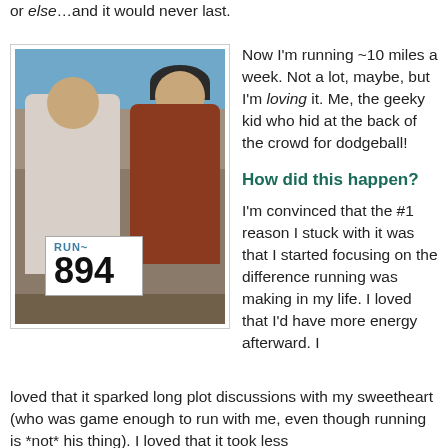or else…and it would never last.
[Figure (photo): A man and woman smiling together outdoors at what appears to be a running race. The man wears glasses and a white shirt with a race bib numbered 894. The woman wears a dark hat and rust-colored top. Trees visible in background.]
Now I'm running ~10 miles a week. Not a lot, maybe, but I'm loving it. Me, the geeky kid who hid at the back of the crowd for dodgeball!
How did this happen?
I'm convinced that the #1 reason I stuck with it was that I started focusing on the difference running was making in my life. I loved that I'd have more energy afterward. I loved that it sparked long plot discussions with my sweetheart (who was game enough to run with me, even though running is *not* his thing). I loved that it took less